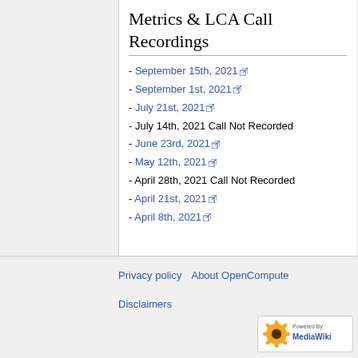Metrics & LCA Call Recordings
- September 15th, 2021
- September 1st, 2021
- July 21st, 2021
- July 14th, 2021 Call Not Recorded
- June 23rd, 2021
- May 12th, 2021
- April 28th, 2021 Call Not Recorded
- April 21st, 2021
- April 8th, 2021
Privacy policy  About OpenCompute  Disclaimers